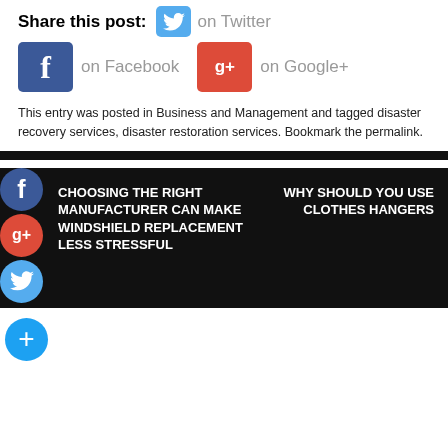Share this post:  on Twitter  on Facebook  on Google+
This entry was posted in Business and Management and tagged disaster recovery services, disaster restoration services. Bookmark the permalink.
CHOOSING THE RIGHT MANUFACTURER CAN MAKE WINDSHIELD REPLACEMENT LESS STRESSFUL
WHY SHOULD YOU USE CLOTHES HANGERS